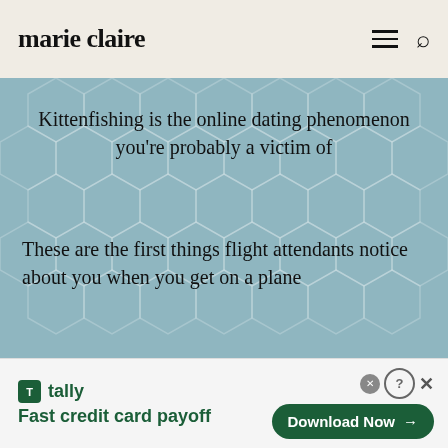marie claire
Kittenfishing is the online dating phenomenon you're probably a victim of
These are the first things flight attendants notice about you when you get on a plane
[Figure (screenshot): Tally app advertisement banner: 'Fast credit card payoff' with Download Now button]